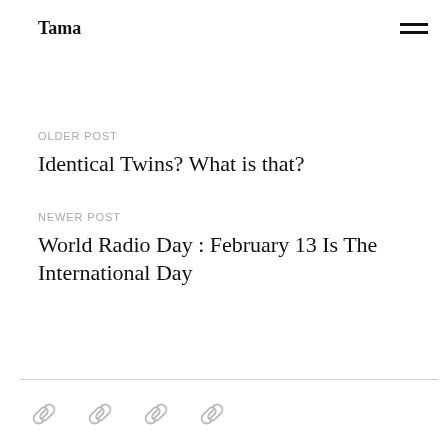Tama
OLDER POST
Identical Twins? What is that?
NEWER POST
World Radio Day : February 13 Is The International Day
[social/link icons]